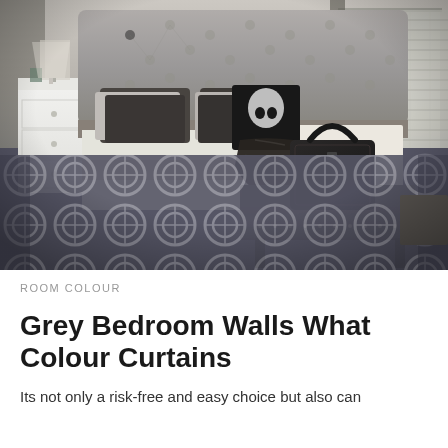[Figure (photo): Interior bedroom photo showing a grey upholstered tufted headboard bed with dark grey and black pillows, a black throw blanket, white nightstand on the left, a dark grey leather bench at the foot of the bed with a black handbag on top, and a geometric moroccan-pattern dark grey rug on the floor.]
ROOM COLOUR
Grey Bedroom Walls What Colour Curtains
Its not only a risk-free and easy choice but also can